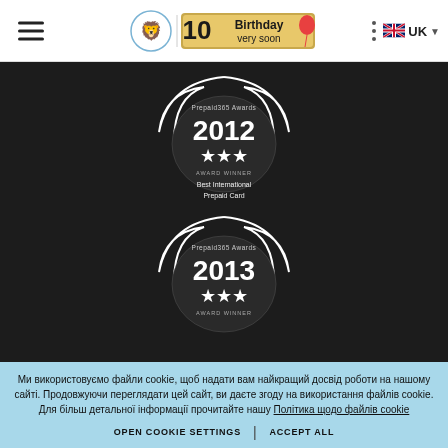Navigation header with hamburger menu, 10th Birthday logo, three-dots menu, UK language selector
[Figure (illustration): Prepaid365 Awards 2012 badge - three stars, Award Winner, Best International Prepaid Card]
[Figure (illustration): Prepaid365 Awards 2013 badge - three stars, Award Winner]
Ми використовуємо файли cookie, щоб надати вам найкращий досвід роботи на нашому сайті. Продовжуючи переглядати цей сайт, ви даєте згоду на використання файлів cookie. Для більш детальної інформації прочитайте нашу Політика щодо файлів cookie
OPEN COOKIE SETTINGS | ACCEPT ALL